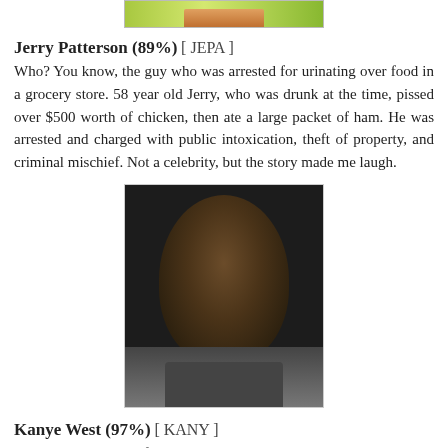[Figure (photo): Partial top image, cropped at top of page]
Jerry Patterson (89%) [JEPA]
Who? You know, the guy who was arrested for urinating over food in a grocery store. 58 year old Jerry, who was drunk at the time, pissed over $500 worth of chicken, then ate a large packet of ham. He was arrested and charged with public intoxication, theft of property, and criminal mischief. Not a celebrity, but the story made me laugh.
[Figure (photo): Photo of Kanye West, close-up face shot]
Kanye West (97%) [KANY]
Kanye is always a safe bet on the NADSAQ Index, especially when he gets on Twitter. This time he tweeted about abortion. "An abortion can cost a ballin' nigga up to 50gs maybe a 100. Gold diggin' bitches be getting pregnant on purpose. #STRAPUP my niggas!" Kanye's 97%, is an all time high score on the NADSAQ